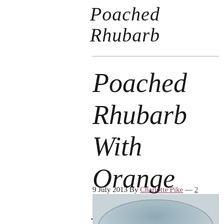Poached Rhubarb
Poached Rhubarb With Orange And Cardamom And Rosemary Ice Cream
9 July 2013 By Charlotte Pike — 2 Comments
[Figure (photo): Partial view of a bowl or plate, appears to be a food photograph, showing a grey/blue curved rim against a light background]